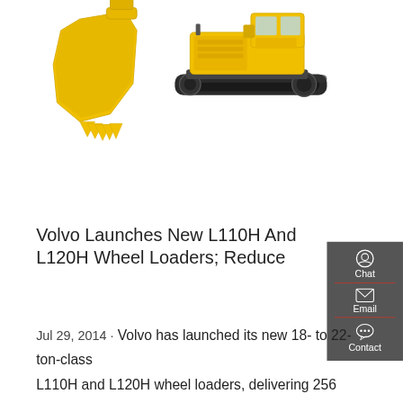[Figure (photo): Top portion showing yellow excavator bucket on left and yellow crawler excavator on right against white background]
Volvo Launches New L110H And L120H Wheel Loaders; Reduce
Jul 29, 2014 · Volvo has launched its new 18- to 22-ton-class L110H and L120H wheel loaders, delivering 256 and 268 gross horsepower, respectively. Designed to handle applications such as material handling, road
[Figure (screenshot): Dark grey sidebar panel with Chat (headset icon), Email (envelope icon), and Contact (speech bubble icon) options with red dividers]
[Figure (photo): Bottom partial image showing a loader bucket/attachment in cream and dark brown/black colors]
Get a quote